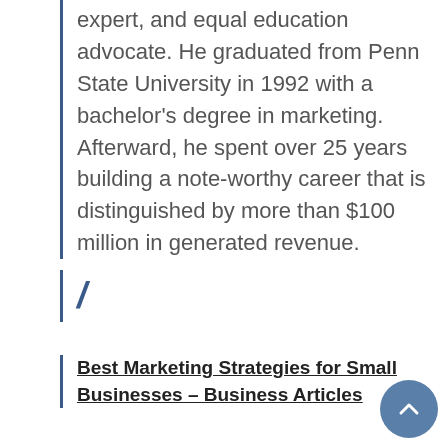marketing professional, real estate expert, and equal education advocate. He graduated from Penn State University in 1992 with a bachelor's degree in marketing. Afterward, he spent over 25 years building a note-worthy career that is distinguished by more than $100 million in generated revenue.
/
Best Marketing Strategies for Small Businesses – Business Articles